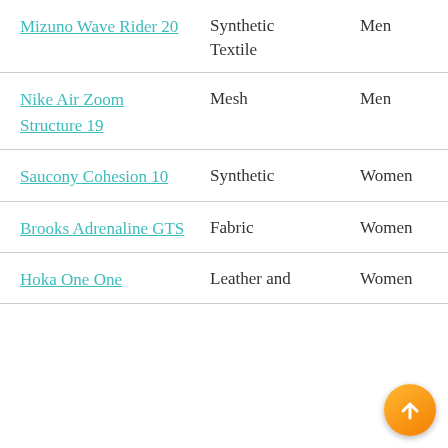| Product | Material | Gender | Rating |
| --- | --- | --- | --- |
| Mizuno Wave Rider 20 | Synthetic Textile | Men | 5.0 |
| Nike Air Zoom Structure 19 | Mesh | Men | 4.6 |
| Saucony Cohesion 10 | Synthetic | Women | 4.6 |
| Brooks Adrenaline GTS | Fabric | Women | 4.4 |
| Hoka One One | Leather and | Women | 4.4 |